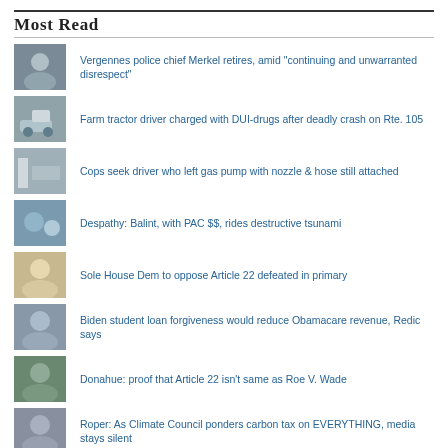Most Read
Vergennes police chief Merkel retires, amid "continuing and unwarranted disrespect"
Farm tractor driver charged with DUI-drugs after deadly crash on Rte. 105
Cops seek driver who left gas pump with nozzle & hose still attached
Despathy: Balint, with PAC $$, rides destructive tsunami
Sole House Dem to oppose Article 22 defeated in primary
Biden student loan forgiveness would reduce Obamacare revenue, Redic says
Donahue: proof that Article 22 isn't same as Roe V. Wade
Roper: As Climate Council ponders carbon tax on EVERYTHING, media stays silent